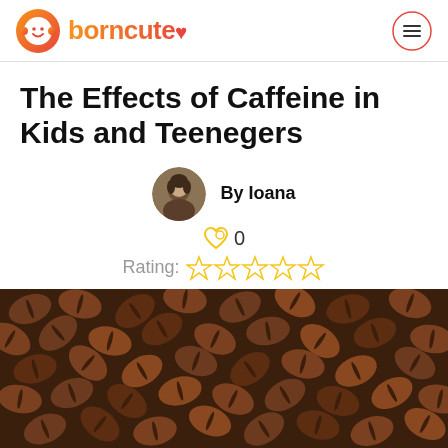borncute
The Effects of Caffeine in Kids and Teenegers
By Ioana
0
Rating:
[Figure (photo): Close-up photograph of roasted coffee beans filling the entire frame, dark brown tones]